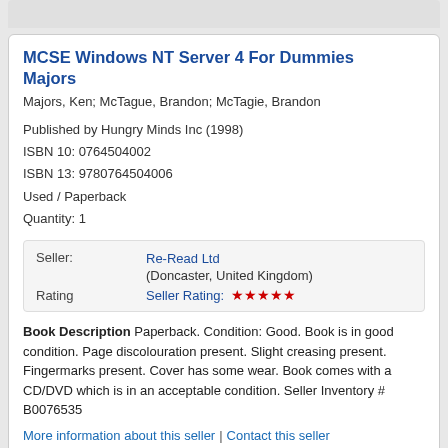MCSE Windows NT Server 4 For Dummies Majors
Majors, Ken; McTague, Brandon; McTagie, Brandon
Published by Hungry Minds Inc (1998)
ISBN 10: 0764504002
ISBN 13: 9780764504006
Used / Paperback
Quantity: 1
|  |  |
| --- | --- |
| Seller: | Re-Read Ltd
(Doncaster, United Kingdom) |
| Rating | Seller Rating: ★★★★★ |
Book Description Paperback. Condition: Good. Book is in good condition. Page discolouration present. Slight creasing present. Fingermarks present. Cover has some wear. Book comes with a CD/DVD which is in an acceptable condition. Seller Inventory # B0076535
More information about this seller | Contact this seller
Buy Used